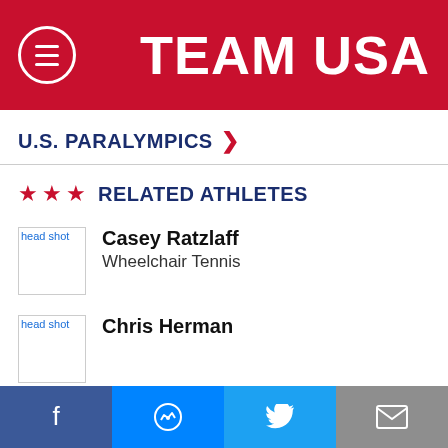TEAM USA
U.S. PARALYMPICS >
★ ★ ★  RELATED ATHLETES
Casey Ratzlaff
Wheelchair Tennis
Chris Herman
SHARE THIS PAGE